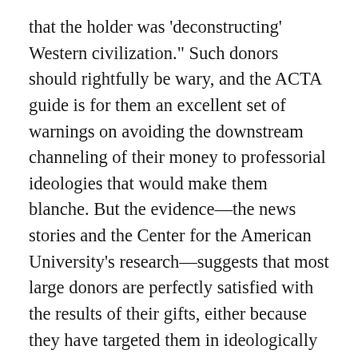that the holder was 'deconstructing' Western civilization." Such donors should rightfully be wary, and the ACTA guide is for them an excellent set of warnings on avoiding the downstream channeling of their money to professorial ideologies that would make them blanche. But the evidence—the news stories and the Center for the American University's research—suggests that most large donors are perfectly satisfied with the results of their gifts, either because they have targeted them in ideologically neutral directions, or because they genuinely share the liberal ideologies of the administrators of the programs they support. It would be difficult to argue, for example, that the Atkinsons object to the research being conducted at the David R. Atkinson Center for a Sustainable Future at Cornell. Furthermore, the donors' perennial dance partners, the university's development officers and high officials, seem equally determined to avoid Bass-like catastrophes in the future–$20 million is quite a bit of money. Look for longer